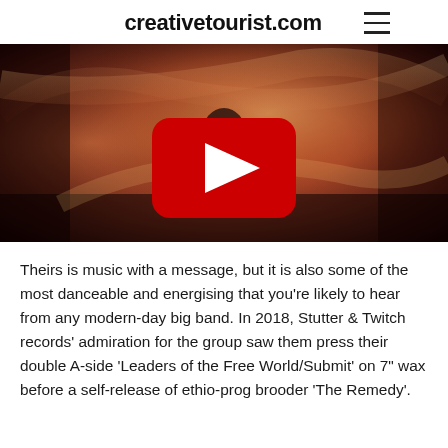creativetourist.com
[Figure (screenshot): YouTube video thumbnail showing a musician playing guitar with flowing fabric in warm red/orange tones, with a YouTube play button overlay in the center.]
Theirs is music with a message, but it is also some of the most danceable and energising that you're likely to hear from any modern-day big band. In 2018, Stutter & Twitch records' admiration for the group saw them press their double A-side 'Leaders of the Free World/Submit' on 7" wax before a self-release of ethio-prog brooder 'The Remedy'.